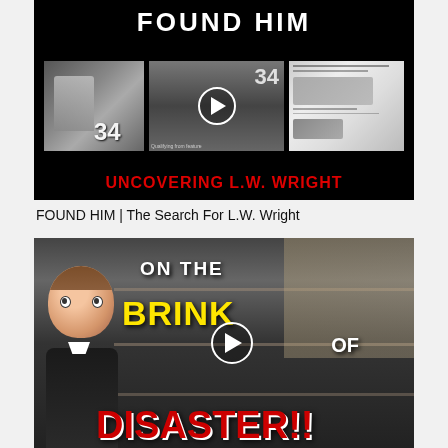[Figure (screenshot): Thumbnail image for YouTube video: 'FOUND HIM | The Search For L.W. Wright'. Black background with white text 'FOUND HIM' at top, three black-and-white photos of a racing car #34 and a person, center photo has a play button circle overlay, red text reads 'UNCOVERING L.W. WRIGHT' at bottom.]
FOUND HIM | The Search For L.W. Wright
[Figure (screenshot): Thumbnail image for a second YouTube video showing a grocery store with empty shelves. A man's face is cutout on the left. Text reads 'ON THE BRINK OF DISASTER!!' in white, yellow, and red letters. A play button circle is visible in the center.]